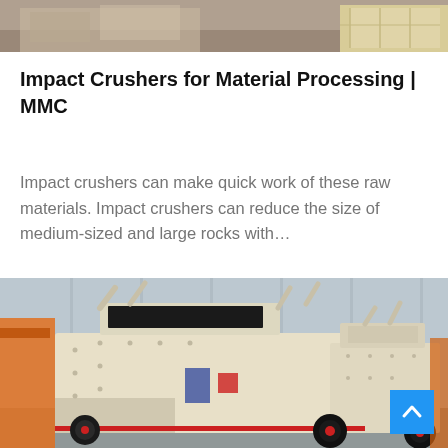[Figure (photo): Top strip photo of industrial machinery/equipment in a warehouse setting, partially visible at top of page]
Impact Crushers for Material Processing | MMC
Impact crushers can make quick work of these raw materials. Impact crushers can reduce the size of medium-sized and large rocks with…
[Figure (photo): Large industrial impact crusher machine, cream/beige colored with red accents, mounted on wheels, photographed outdoors near a metal building. Blue back-to-top button visible in bottom right corner.]